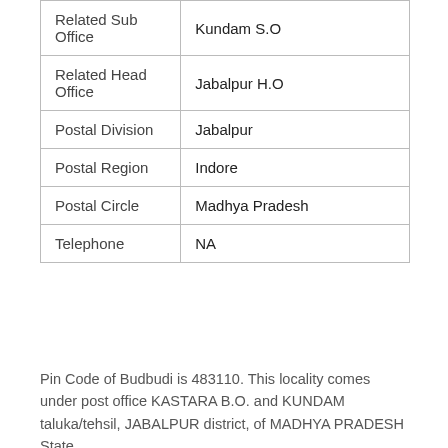| Related Sub Office | Kundam S.O |
| Related Head Office | Jabalpur H.O |
| Postal Division | Jabalpur |
| Postal Region | Indore |
| Postal Circle | Madhya Pradesh |
| Telephone | NA |
Pin Code of Budbudi is 483110. This locality comes under post office KASTARA B.O. and KUNDAM taluka/tehsil, JABALPUR district, of MADHYA PRADESH State.